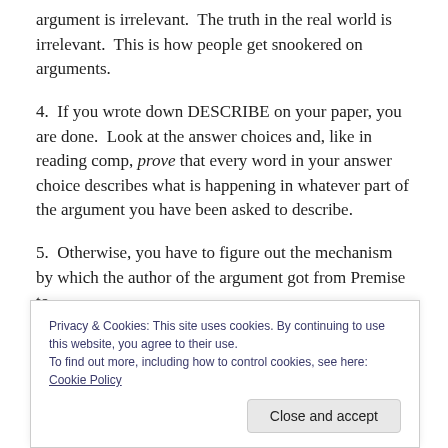argument is irrelevant.  The truth in the real world is irrelevant.  This is how people get snookered on arguments.
4.  If you wrote down DESCRIBE on your paper, you are done.  Look at the answer choices and, like in reading comp, prove that every word in your answer choice describes what is happening in whatever part of the argument you have been asked to describe.
5.  Otherwise, you have to figure out the mechanism by which the author of the argument got from Premise to
Privacy & Cookies: This site uses cookies. By continuing to use this website, you agree to their use.
To find out more, including how to control cookies, see here: Cookie Policy
Close and accept